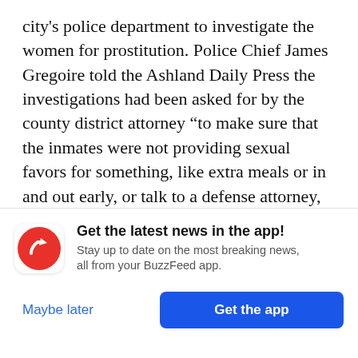city's police department to investigate the women for prostitution. Police Chief James Gregoire told the Ashland Daily Press the investigations had been asked for by the county district attorney "to make sure that the inmates were not providing sexual favors for something, like extra meals or in and out early, or talk to a defense attorney, or whatever."
Neither Brennan nor Jones responded to requests for comment on the lawsuits. Both remain on the job. The state's Department of Corrections is
[Figure (logo): BuzzFeed app notification banner with red circular logo containing a white upward arrow, bold text 'Get the latest news in the app!', subtext 'Stay up to date on the most breaking news, all from your BuzzFeed app.', and two buttons: 'Maybe later' and 'Get the app']